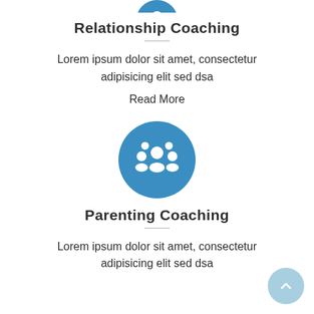[Figure (illustration): Blue circle icon (partially visible at top) for Relationship Coaching section]
Relationship Coaching
Lorem ipsum dolor sit amet, consectetur adipisicing elit sed dsa
Read More
[Figure (illustration): Blue circle icon with group/family people silhouette for Parenting Coaching section]
Parenting Coaching
Lorem ipsum dolor sit amet, consectetur adipisicing elit sed dsa